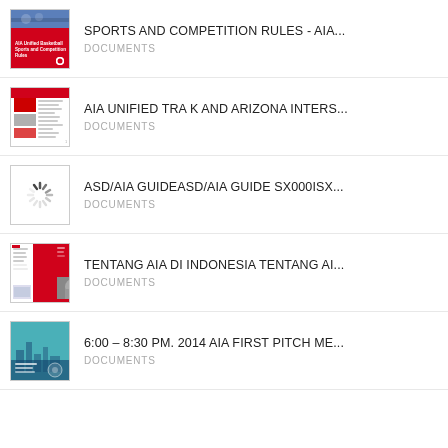SPORTS AND COMPETITION RULES - AIA...
DOCUMENTS
AIA UNIFIED TRA K AND ARIZONA INTERS...
DOCUMENTS
ASD/AIA GUIDEASD/AIA GUIDE SX000ISX...
DOCUMENTS
TENTANG AIA DI INDONESIA TENTANG AI...
DOCUMENTS
6:00 – 8:30 PM. 2014 AIA FIRST PITCH ME...
DOCUMENTS